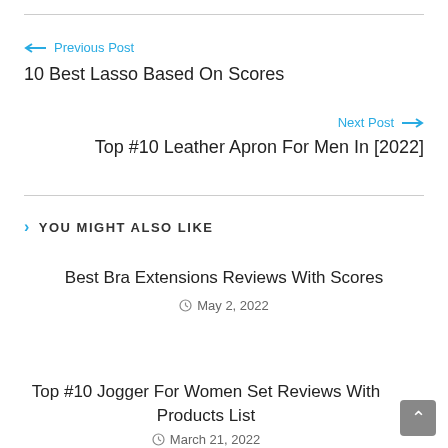← Previous Post
10 Best Lasso Based On Scores
Next Post →
Top #10 Leather Apron For Men In [2022]
> YOU MIGHT ALSO LIKE
Best Bra Extensions Reviews With Scores
May 2, 2022
Top #10 Jogger For Women Set Reviews With Products List
March 21, 2022